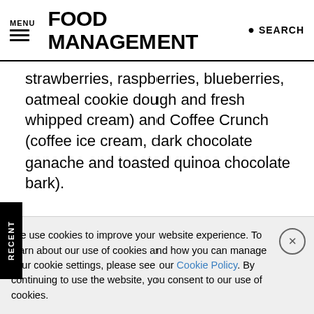MENU  FOOD MANAGEMENT  SEARCH
strawberries, raspberries, blueberries, oatmeal cookie dough and fresh whipped cream) and Coffee Crunch (coffee ice cream, dark chocolate ganache and toasted quinoa chocolate bark).
Also available are signature ice cream sandwiches such as Bye Bye Brownie (FLIK’s signature brownie layered with chocolate ice cream and soaked cherries and rolled in quinoa chocolate bark), Oats ‘n Crunch (a low-fat oatmeal cookie
We use cookies to improve your website experience. To learn about our use of cookies and how you can manage your cookie settings, please see our Cookie Policy. By continuing to use the website, you consent to our use of cookies.